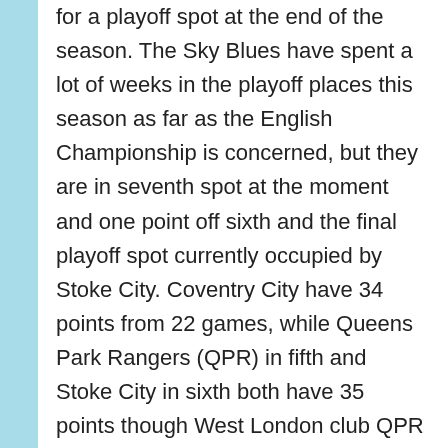for a playoff spot at the end of the season. The Sky Blues have spent a lot of weeks in the playoff places this season as far as the English Championship is concerned, but they are in seventh spot at the moment and one point off sixth and the final playoff spot currently occupied by Stoke City. Coventry City have 34 points from 22 games, while Queens Park Rangers (QPR) in fifth and Stoke City in sixth both have 35 points though West London club QPR have played one game less than the likes of Stoke City and Coventry City.
Barcelona are cash strapped and they are looking for cheap and quality deals. To this effect, Dutch left-back Maatsen is said to be on their shortlist and it remains to be seen if Chelsea